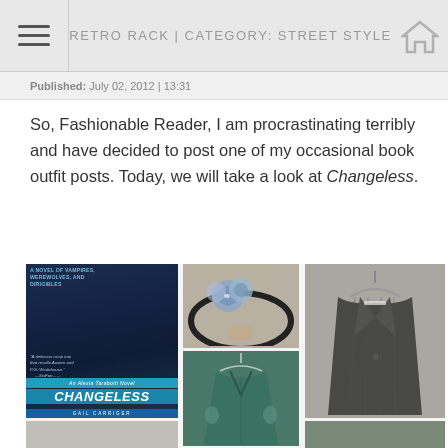RETRO RACK | CATEGORY: STREET STYLE
Published: July 02, 2012 | 13:31
So, Fashionable Reader, I am procrastinating terribly and have decided to post one of my occasional book outfit posts. Today, we will take a look at Changeless.
[Figure (photo): Book cover of Changeless by Gail Carriger showing a steampunk woman in a top hat, with text 'A Novel of Vampires, Werewolves, and Dirigibles' and 'An Alexia Tarabotti Novel']
[Figure (photo): A blue floral headband with fuzzy blue flower decoration on a black headband]
[Figure (photo): A dark grey pinstripe blazer jacket on a hanger]
[Figure (photo): A teal/dark green long-sleeve dress on a hanger]